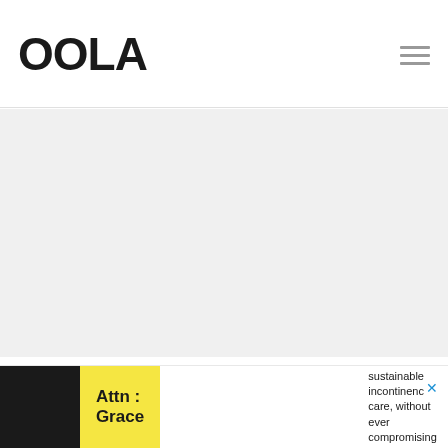OOLA
[Figure (other): Gray advertisement placeholder area]
Nice, eh? My response was, ‘At least I’d have a life to ruin. I’m dying from this and my children will be orphans. It’s more important that I
[Figure (other): Bottom advertisement banner: Attn: Grace — The cleanest, most sustainable incontinence care, without ever compromising on performance.]